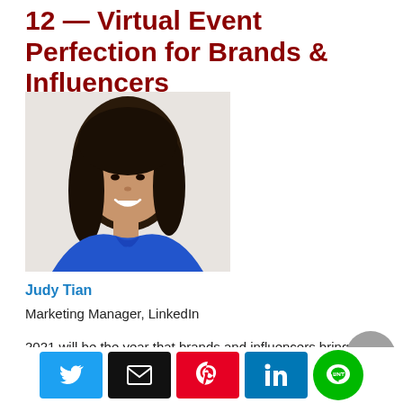12 — Virtual Event Perfection for Brands & Influencers
[Figure (photo): Headshot of Judy Tian, a woman with long dark hair wearing a blue top, smiling, photographed against a light background]
Judy Tian
Marketing Manager, LinkedIn
2021 will be the year that brands and influencers bring virtual events and experiences to perfection. 2020 was the year of learning and now...
[Figure (other): Social sharing bar with Twitter, Email, Pinterest, LinkedIn, and LINE buttons]